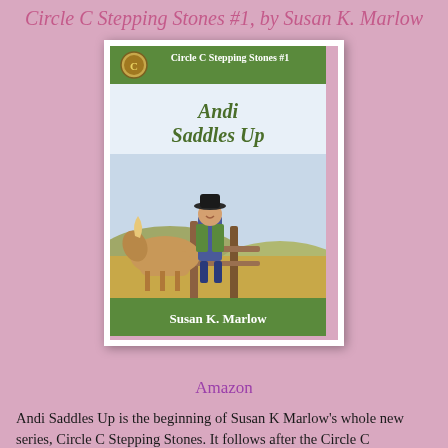Circle C Stepping Stones #1, by Susan K. Marlow
[Figure (photo): Book cover of 'Andi Saddles Up' by Susan K. Marlow, Circle C Stepping Stones #1. Shows a girl in a cowboy hat, green shirt, and denim overalls standing at a wooden fence with a horse in a ranch field background. Green banner at top reads 'Circle C Stepping Stones #1' and green banner at bottom reads 'Susan K. Marlow'.]
Amazon
Andi Saddles Up is the beginning of Susan K Marlow's whole new series, Circle C Stepping Stones. It follows after the Circle C